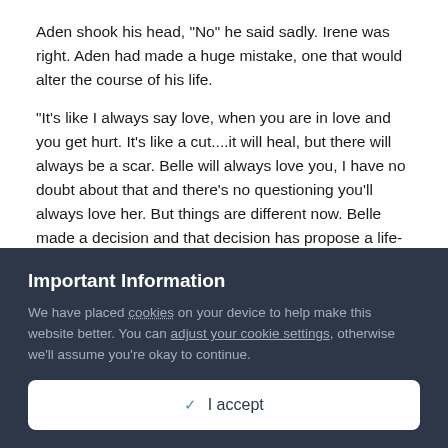Aden shook his head, "No" he said sadly. Irene was right. Aden had made a huge mistake, one that would alter the course of his life.
"It's like I always say love, when you are in love and you get hurt. It's like a cut....it will heal, but there will always be a scar. Belle will always love you, I have no doubt about that and there's no questioning you'll always love her. But things are different now. Belle made a decision and that decision has propose a life-changing opportunity for her. She will be a mother in 9 months"
"I know....I just hate myself Irene.....I should have been the one. Belle and I...." Irene stopped preparing a meal and looked at Aden. "Belle and I should have made a little one together, not bible boy"
Important Information
We have placed cookies on your device to help make this website better. You can adjust your cookie settings, otherwise we'll assume you're okay to continue.
✓  I accept